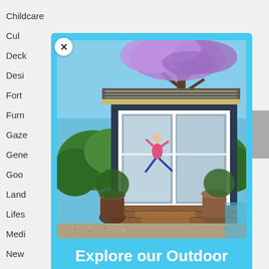Childcare
Cul…
Deck…
Desi…
Fort…
Furn…
Gaze…
Gene…
Good…
Land…
Lifes…
Medi…
New…
Perg…
Pet h…
Play…
[Figure (photo): A modern outdoor room/studio with navy blue walls, large sliding glass doors, a woman doing yoga inside, jacaranda tree with purple flowers above, potted plants on a wooden deck with stairs, gravel path in front.]
Explore our Outdoor Rooms
Living, storage, and space solutions to